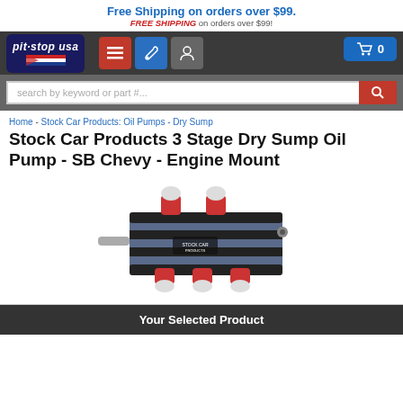Free Shipping on orders over $99. FREE SHIPPING on orders over $99!
[Figure (logo): Pit Stop USA logo with American flag]
[Figure (screenshot): Navigation icons: hamburger menu (red), wrench (blue), user (grey), and cart button (blue, 0 items)]
search by keyword or part #...
Home - Stock Car Products: Oil Pumps - Dry Sump
Stock Car Products 3 Stage Dry Sump Oil Pump - SB Chevy - Engine Mount
[Figure (photo): Stock Car Products 3 Stage Dry Sump Oil Pump - blue and black metal pump with red fittings and chrome connectors]
Your Selected Product